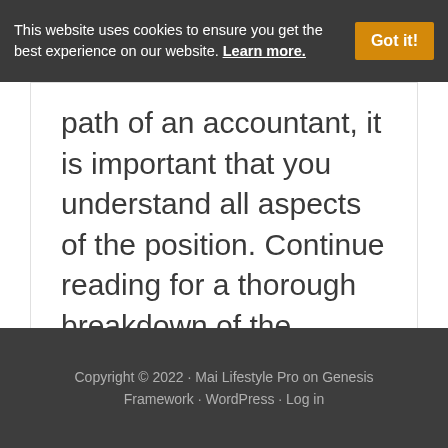This website uses cookies to ensure you get the best experience on our website. Learn more.
path of an accountant, it is important that you understand all aspects of the position. Continue reading for a thorough breakdown of the responsibilities of an accountant, different ...
Copyright © 2022 · Mai Lifestyle Pro on Genesis Framework · WordPress · Log in